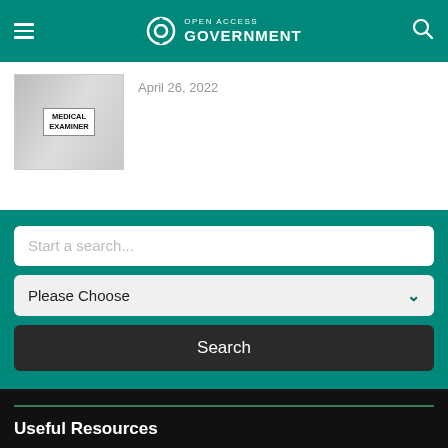Open Access Government
[Figure (photo): Thumbnail image showing medical examiner text on a sign with stethoscope and pills]
April 26, 2022
Start a search...
Please Choose
Search
Useful Resources